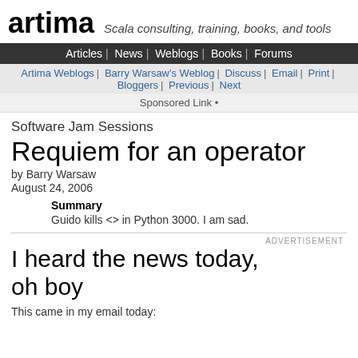artima — Scala consulting, training, books, and tools
Articles | News | Weblogs | Books | Forums
Artima Weblogs | Barry Warsaw's Weblog | Discuss | Email | Print | Bloggers | Previous | Next
Sponsored Link •
Software Jam Sessions
Requiem for an operator
by Barry Warsaw
August 24, 2006
Summary
Guido kills <> in Python 3000. I am sad.
I heard the news today, oh boy
This came in my email today: